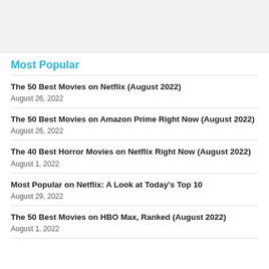Most Popular
The 50 Best Movies on Netflix (August 2022)
August 26, 2022
The 50 Best Movies on Amazon Prime Right Now (August 2022)
August 26, 2022
The 40 Best Horror Movies on Netflix Right Now (August 2022)
August 1, 2022
Most Popular on Netflix: A Look at Today's Top 10
August 29, 2022
The 50 Best Movies on HBO Max, Ranked (August 2022)
August 1, 2022